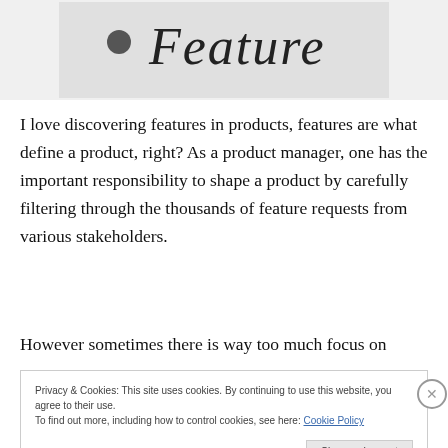[Figure (photo): Partial image showing handwritten text 'Feature' with a bullet dot, on a light gray/silver background]
I love discovering features in products, features are what define a product, right? As a product manager, one has the important responsibility to shape a product by carefully filtering through the thousands of feature requests from various stakeholders.
However sometimes there is way too much focus on
Privacy & Cookies: This site uses cookies. By continuing to use this website, you agree to their use.
To find out more, including how to control cookies, see here: Cookie Policy

Close and accept